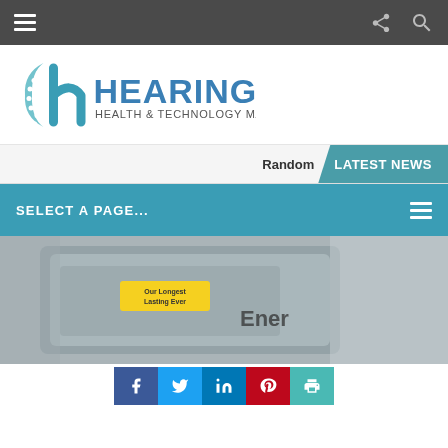Hearing Health & Technology Matters — navigation bar
[Figure (logo): Hearing Health & Technology Matters logo with stylized 'h' icon in teal and blue, with text HEARING HEALTH & TECHNOLOGY MATTERS]
Random | LATEST NEWS
SELECT A PAGE...
[Figure (photo): Close-up photo of hearing aid batteries in a grey case with yellow Energizer battery label]
Social share buttons: Facebook, Twitter, LinkedIn, Pinterest, Print